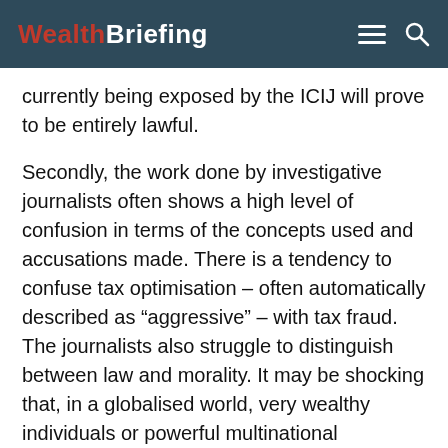WealthBriefing
currently being exposed by the ICIJ will prove to be entirely lawful.
Secondly, the work done by investigative journalists often shows a high level of confusion in terms of the concepts used and accusations made. There is a tendency to confuse tax optimisation – often automatically described as “aggressive” – with tax fraud. The journalists also struggle to distinguish between law and morality. It may be shocking that, in a globalised world, very wealthy individuals or powerful multinational companies can use subtleties and loopholes in legal systems to avoid tax, while other citizens or companies are unable to do so. The situation raises the principle of “no